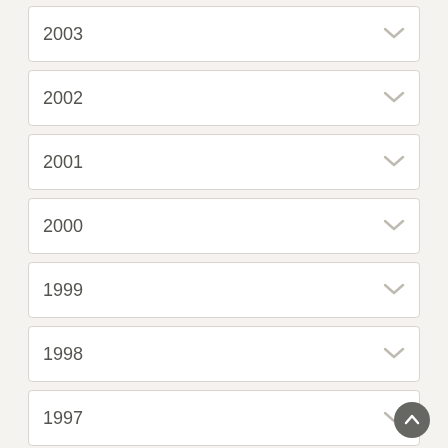2003
2002
2001
2000
1999
1998
1997
1996
1995